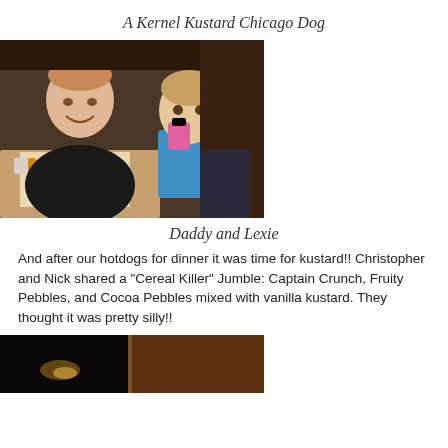A Kernel Kustard Chicago Dog
[Figure (photo): A man (Daddy) smiling seated at a restaurant table with food (hot dog and fries) in front of him, and a young toddler girl (Lexie) in a blue shirt standing beside him holding a pink sippy cup.]
Daddy and Lexie
And after our hotdogs for dinner it was time for kustard!! Christopher and Nick shared a "Cereal Killer" Jumble: Captain Crunch, Fruity Pebbles, and Cocoa Pebbles mixed with vanilla kustard. They thought it was pretty silly!!
[Figure (photo): Bottom portion of a photo showing a dark interior scene, partially visible.]